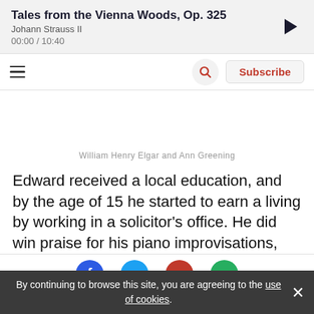Tales from the Vienna Woods, Op. 325 | Johann Strauss II | 00:00 / 10:40
[Figure (screenshot): Navigation bar with hamburger menu, search icon, and Subscribe button]
William Henry Elgar and Ann Greening
Edward received a local education, and by the age of 15 he started to earn a living by working in a solicitor's office. He did win praise for his piano improvisations, but had no formal training beyond violin lessons from a Worcester
By continuing to browse this site, you are agreeing to the use of cookies.